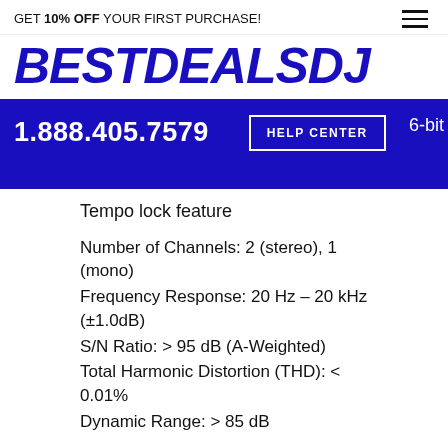GET 10% OFF YOUR FIRST PURCHASE!
[Figure (logo): BESTDEALSDJ logo in bold blue italic text]
1.888.405.7579   HELP CENTER   6-bit
Tempo lock feature
Number of Channels: 2 (stereo), 1 (mono)
Frequency Response: 20 Hz – 20 kHz (±1.0dB)
S/N Ratio: > 95 dB (A-Weighted)
Total Harmonic Distortion (THD): < 0.01%
Dynamic Range: > 85 dB